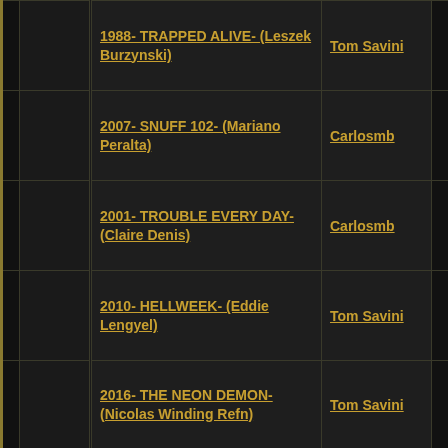|  |  |  | Film | User |  |
| --- | --- | --- | --- | --- | --- |
|  |  |  | 1988- TRAPPED ALIVE- (Leszek Burzynski) | Tom Savini |  |
|  |  |  | 2007- SNUFF 102- (Mariano Peralta) | Carlosmb |  |
|  |  |  | 2001- TROUBLE EVERY DAY- (Claire Denis) | Carlosmb |  |
|  |  |  | 2010- HELLWEEK- (Eddie Lengyel) | Tom Savini |  |
|  |  |  | 2016- THE NEON DEMON- (Nicolas Winding Refn) | Tom Savini |  |